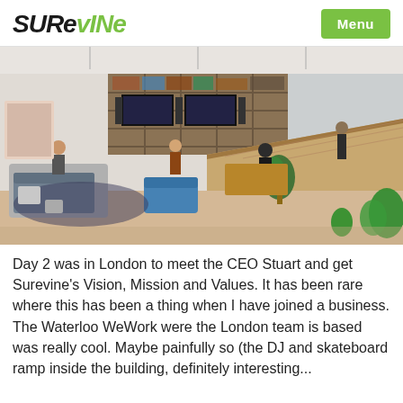SUREvINe | Menu
[Figure (photo): Interior of a WeWork co-working space showing a lounge area with bookshelves, sofas, plants, and a skateboard ramp made of plywood, with people working and moving around.]
Day 2 was in London to meet the CEO Stuart and get Surevine’s Vision, Mission and Values. It has been rare where this has been a thing when I have joined a business. The Waterloo WeWork were the London team is based was really cool. Maybe painfully so (the DJ and skateboard ramp inside the building, definitely interesting...